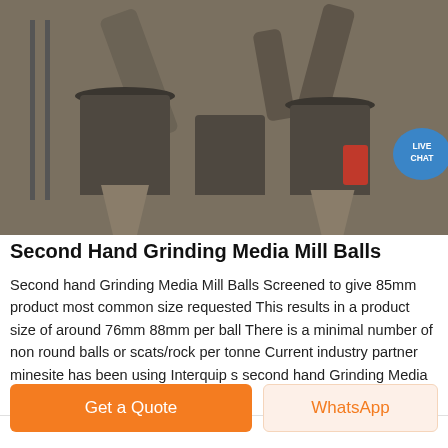[Figure (photo): Aerial/overhead industrial view of second hand grinding media mill ball equipment, showing large cylindrical mill tanks, pipes, hoppers, and scaffolding at a mine site. The image is in muted grey-brown tones with industrial equipment.]
Second Hand Grinding Media Mill Balls
Second hand Grinding Media Mill Balls Screened to give 85mm product most common size requested This results in a product size of around 76mm 88mm per ball There is a minimal number of non round balls or scats/rock per tonne Current industry partner minesite has been using Interquip s second hand Grinding Media Mill Balls for
Get a Quote
WhatsApp